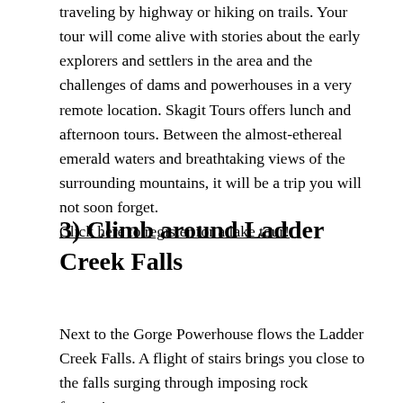traveling by highway or hiking on trails. Your tour will come alive with stories about the early explorers and settlers in the area and the challenges of dams and powerhouses in a very remote location. Skagit Tours offers lunch and afternoon tours. Between the almost-ethereal emerald waters and breathtaking views of the surrounding mountains, it will be a trip you will not soon forget. Click here to register for a lake tour!
3) Climb around Ladder Creek Falls
Next to the Gorge Powerhouse flows the Ladder Creek Falls. A flight of stairs brings you close to the falls surging through imposing rock formations.